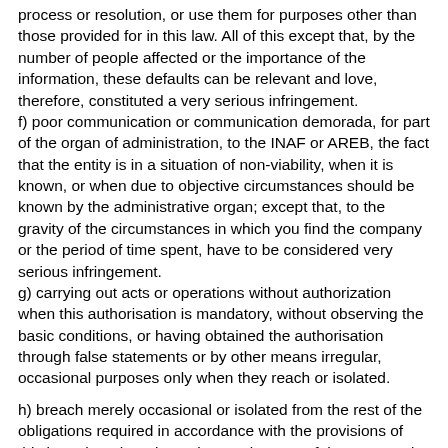process or resolution, or use them for purposes other than those provided for in this law. All of this except that, by the number of people affected or the importance of the information, these defaults can be relevant and love, therefore, constituted a very serious infringement.
f) poor communication or communication demorada, for part of the organ of administration, to the INAF or AREB, the fact that the entity is in a situation of non-viability, when it is known, or when due to objective circumstances should be known by the administrative organ; except that, to the gravity of the circumstances in which you find the company or the period of time spent, have to be considered very serious infringement.
g) carrying out acts or operations without authorization when this authorisation is mandatory, without observing the basic conditions, or having obtained the authorisation through false statements or by other means irregular, occasional purposes only when they reach or isolated.
h) breach merely occasional or isolated from the rest of the obligations required in accordance with the provisions of this law when there is a prior requirement of the INAF and AREB.
l) in conjunction with the society of asset management and without prejudice to the application of the rest of the lyrics:
(i) The carrying out of activities unrelated to its corporate...